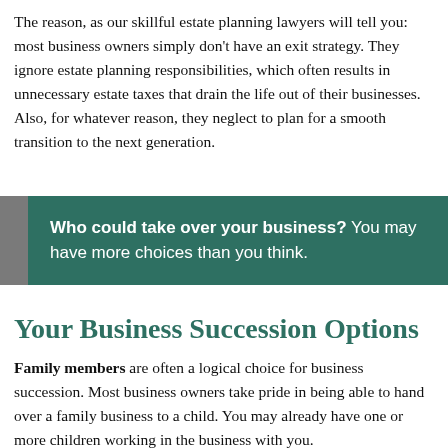The reason, as our skillful estate planning lawyers will tell you: most business owners simply don't have an exit strategy. They ignore estate planning responsibilities, which often results in unnecessary estate taxes that drain the life out of their businesses. Also, for whatever reason, they neglect to plan for a smooth transition to the next generation.
Who could take over your business? You may have more choices than you think.
Your Business Succession Options
Family members are often a logical choice for business succession. Most business owners take pride in being able to hand over a family business to a child. You may already have one or more children working in the business with you.